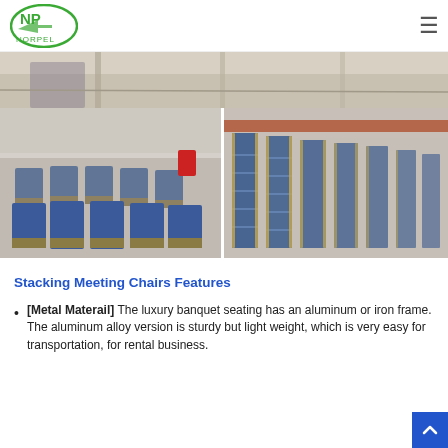NORPEL logo and navigation
[Figure (photo): Top strip photo of stacking banquet chairs in a warehouse/factory setting, gray concrete floor visible]
[Figure (photo): Left: rows of blue upholstered banquet chairs with gold/silver frames arranged in a factory showroom. Right: stacked banquet chairs in multiple tall columns in a warehouse.]
Stacking Meeting Chairs Features
[Metal Materail] The luxury banquet seating has an aluminum or iron frame. The aluminum alloy version is sturdy but light weight, which is very easy for transportation, for rental business.